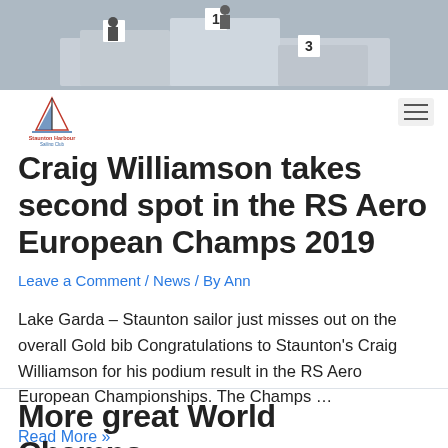[Figure (photo): Podium scene with position markers 1, 2, 3 visible on a tiered platform structure]
[Figure (logo): Staunton Harbour sailing club logo with sailboat image and text]
Craig Williamson takes second spot in the RS Aero European Champs 2019
Leave a Comment / News / By Ann
Lake Garda – Staunton sailor just misses out on the overall Gold bib Congratulations to Staunton's Craig Williamson for his podium result in the RS Aero European Championships. The Champs …
Read More »
More great World Champs...